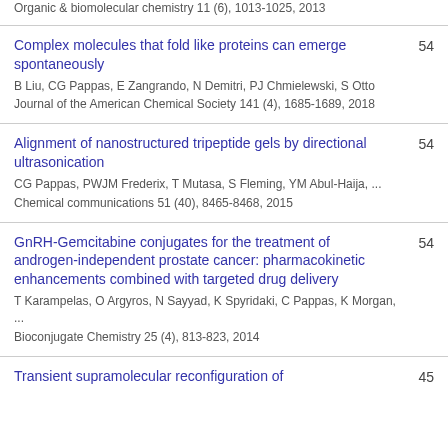Organic & biomolecular chemistry 11 (6), 1013-1025, 2013
Complex molecules that fold like proteins can emerge spontaneously
B Liu, CG Pappas, E Zangrando, N Demitri, PJ Chmielewski, S Otto
Journal of the American Chemical Society 141 (4), 1685-1689, 2018
54
Alignment of nanostructured tripeptide gels by directional ultrasonication
CG Pappas, PWJM Frederix, T Mutasa, S Fleming, YM Abul-Haija, ...
Chemical communications 51 (40), 8465-8468, 2015
54
GnRH-Gemcitabine conjugates for the treatment of androgen-independent prostate cancer: pharmacokinetic enhancements combined with targeted drug delivery
T Karampelas, O Argyros, N Sayyad, K Spyridaki, C Pappas, K Morgan, ...
Bioconjugate Chemistry 25 (4), 813-823, 2014
54
Transient supramolecular reconfiguration of
45